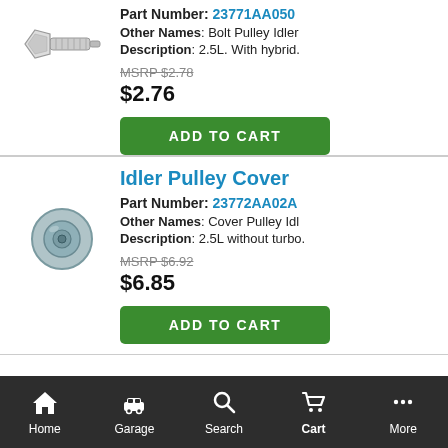[Figure (photo): Bolt pulley idler part image (partial, top of page)]
Part Number: 23771AA050
Other Names: Bolt Pulley Idler
Description: 2.5L. With hybrid.
MSRP $2.78
$2.76
ADD TO CART
Idler Pulley Cover
Part Number: 23772AA02A
[Figure (photo): Round metal idler pulley cover part photo]
Other Names: Cover Pulley Idl
Description: 2.5L without turbo.
MSRP $6.92
$6.85
ADD TO CART
Home  Garage  Search  Cart  More